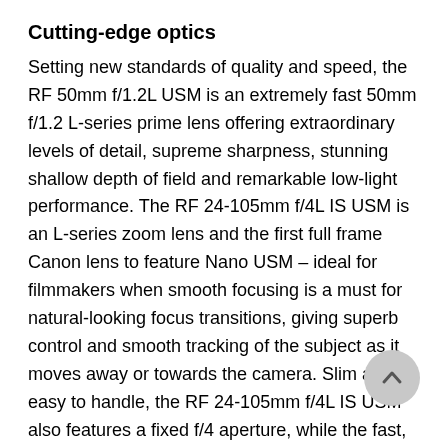Cutting-edge optics
Setting new standards of quality and speed, the RF 50mm f/1.2L USM is an extremely fast 50mm f/1.2 L-series prime lens offering extraordinary levels of detail, supreme sharpness, stunning shallow depth of field and remarkable low-light performance. The RF 24-105mm f/4L IS USM is an L-series zoom lens and the first full frame Canon lens to feature Nano USM – ideal for filmmakers when smooth focusing is a must for natural-looking focus transitions, giving superb control and smooth tracking of the subject as it moves away or towards the camera. Slim and easy to handle, the RF 24-105mm f/4L IS USM also features a fixed f/4 aperture, while the fast, silent autofocus and 5-stops of image stabilisation make it